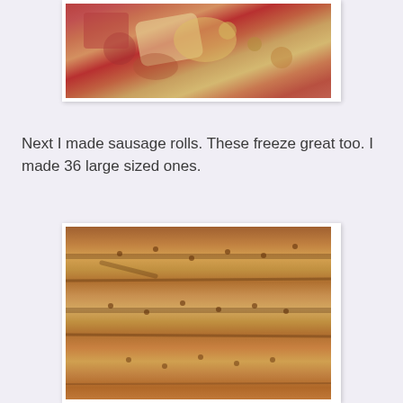[Figure (photo): Close-up photo of a baked dish with melted cheese and tomato sauce, partially visible at top of page]
Next I made sausage rolls. These freeze great too. I made 36 large sized ones.
[Figure (photo): Close-up photo of golden brown baked sausage rolls arranged in rows, showing pastry with small holes/dots]